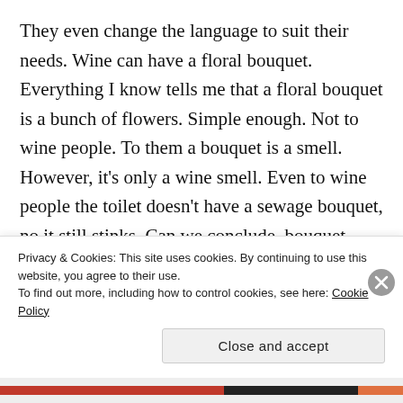They even change the language to suit their needs. Wine can have a floral bouquet. Everything I know tells me that a floral bouquet is a bunch of flowers. Simple enough. Not to wine people. To them a bouquet is a smell. However, it's only a wine smell. Even to wine people the toilet doesn't have a sewage bouquet, no it still stinks. Can we conclude, bouquet means it has to do with flowers? Nope! Wine can have a spicy bouquet. When I heard this, I gave my mother, cinnamon, nutmeg, clove, and basil. I told her it was a spice...
Privacy & Cookies: This site uses cookies. By continuing to use this website, you agree to their use.
To find out more, including how to control cookies, see here: Cookie Policy
Close and accept